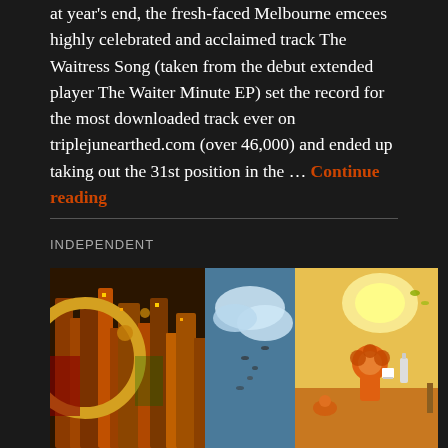at year's end, the fresh-faced Melbourne emcees highly celebrated and acclaimed track The Waitress Song (taken from the debut extended player The Waiter Minute EP) set the record for the most downloaded track ever on triplejunearthed.com (over 46,000) and ended up taking out the 31st position in the … Continue reading
INDEPENDENT
[Figure (illustration): Colorful fantasy illustration featuring a steampunk/whimsical cityscape on the left with orange and brown industrial towers, pipes, and machinery, transitioning to a bright sky in the middle, and on the right a sunny pastoral scene with cartoon-like characters (a lion-like figure holding a cup, various animals) perched on floating islands with green foliage and yellow/orange landscape. Vibrant colors throughout.]